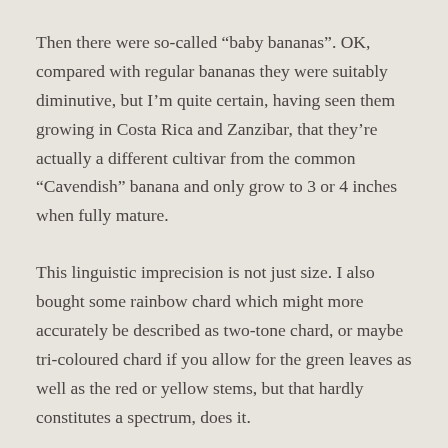Then there were so-called “baby bananas”. OK, compared with regular bananas they were suitably diminutive, but I’m quite certain, having seen them growing in Costa Rica and Zanzibar, that they’re actually a different cultivar from the common “Cavendish” banana and only grow to 3 or 4 inches when fully mature.
This linguistic imprecision is not just size. I also bought some rainbow chard which might more accurately be described as two-tone chard, or maybe tri-coloured chard if you allow for the green leaves as well as the red or yellow stems, but that hardly constitutes a spectrum, does it.
However, I couldn’t argue with the description “baby turnips”. They were minute. But I wasn’t tempted to buy any. A turnip is a turnip – unless you come from a region where a turnip is a